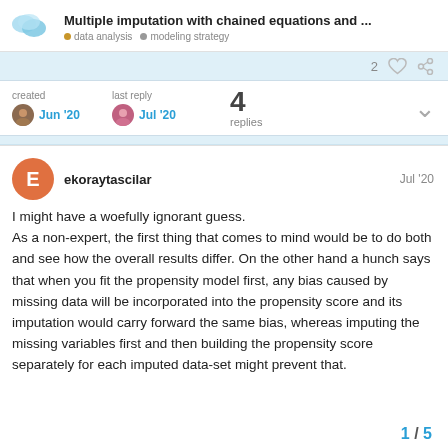Multiple imputation with chained equations and ...  data analysis  modeling strategy
2 replies  created Jun '20  last reply Jul '20  4 replies
ekoraytascilar  Jul '20
I might have a woefully ignorant guess.
As a non-expert, the first thing that comes to mind would be to do both and see how the overall results differ. On the other hand a hunch says that when you fit the propensity model first, any bias caused by missing data will be incorporated into the propensity score and its imputation would carry forward the same bias, whereas imputing the missing variables first and then building the propensity score separately for each imputed data-set might prevent that.
1 / 5